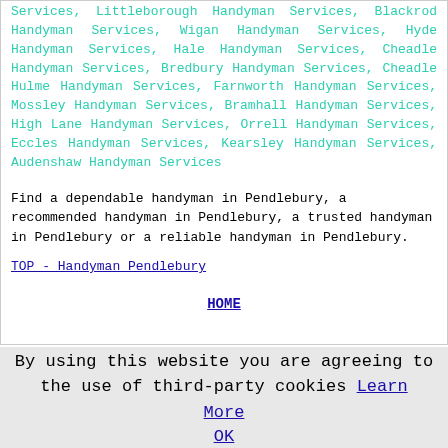Services, Littleborough Handyman Services, Blackrod Handyman Services, Wigan Handyman Services, Hyde Handyman Services, Hale Handyman Services, Cheadle Handyman Services, Bredbury Handyman Services, Cheadle Hulme Handyman Services, Farnworth Handyman Services, Mossley Handyman Services, Bramhall Handyman Services, High Lane Handyman Services, Orrell Handyman Services, Eccles Handyman Services, Kearsley Handyman Services, Audenshaw Handyman Services
Find a dependable handyman in Pendlebury, a recommended handyman in Pendlebury, a trusted handyman in Pendlebury or a reliable handyman in Pendlebury.
TOP - Handyman Pendlebury
HOME
By using this website you are agreeing to the use of third-party cookies Learn More OK